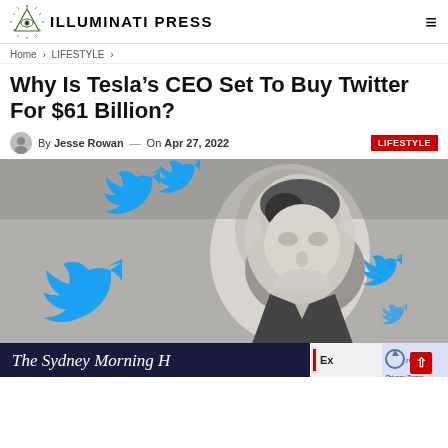ILLUMINATI PRESS
Home > LIFESTYLE >
Why Is Tesla’s CEO Set To Buy Twitter For $61 Billion?
By Jesse Rowan — On Apr 27, 2022  LIFESTYLE
[Figure (photo): Composite image of Elon Musk in black and white with large blue Twitter bird logos overlaid, and The Sydney Morning Herald banner at bottom.]